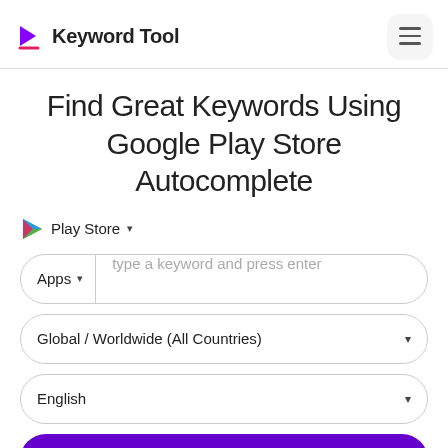Keyword Tool
Find Great Keywords Using Google Play Store Autocomplete
Play Store ▾
Apps ▾  type a keyword and press enter
Global / Worldwide (All Countries) ▾
English ▾
🔍 Search